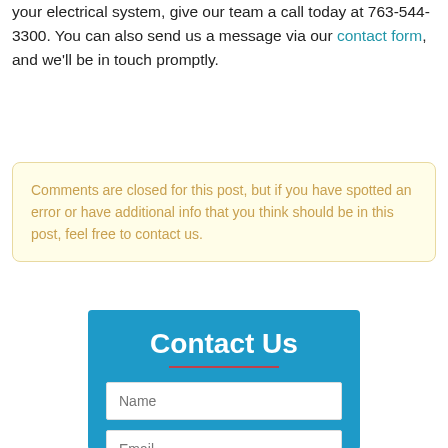your electrical system, give our team a call today at 763-544-3300. You can also send us a message via our contact form, and we'll be in touch promptly.
Comments are closed for this post, but if you have spotted an error or have additional info that you think should be in this post, feel free to contact us.
[Figure (screenshot): Contact Us form section with blue background, showing a title 'Contact Us' with a red underline divider, and two input fields labeled 'Name' and 'Email']